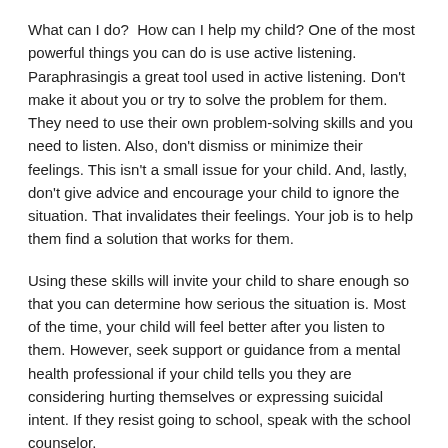What can I do?  How can I help my child? One of the most powerful things you can do is use active listening. Paraphrasingis a great tool used in active listening. Don't make it about you or try to solve the problem for them. They need to use their own problem-solving skills and you need to listen. Also, don't dismiss or minimize their feelings. This isn't a small issue for your child. And, lastly, don't give advice and encourage your child to ignore the situation. That invalidates their feelings. Your job is to help them find a solution that works for them.
Using these skills will invite your child to share enough so that you can determine how serious the situation is. Most of the time, your child will feel better after you listen to them. However, seek support or guidance from a mental health professional if your child tells you they are considering hurting themselves or expressing suicidal intent. If they resist going to school, speak with the school counselor.
What can I do if I'm concerned that my child is bullying others?
Talk With Your Child: Inform them that others are concerned about their aggressive behavior, their behavior needs to change because bullying (in all forms) hurts others, discuss the different types of